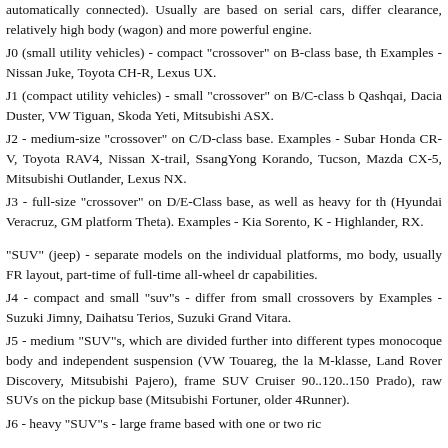automatically connected). Usually are based on serial cars, differ clearance, relatively high body (wagon) and more powerful engine. J0 (small utility vehicles) - compact "crossover" on B-class base, th Examples - Nissan Juke, Toyota CH-R, Lexus UX. J1 (compact utility vehicles) - small "crossover" on B/C-class b Qashqai, Dacia Duster, VW Tiguan, Skoda Yeti, Mitsubishi ASX. J2 - medium-size "crossover" on C/D-class base. Examples - Subar Honda CR-V, Toyota RAV4, Nissan X-trail, SsangYong Korando, Tucson, Mazda CX-5, Mitsubishi Outlander, Lexus NX. J3 - full-size "crossover" on D/E-Class base, as well as heavy for th (Hyundai Veracruz, GM platform Theta). Examples - Kia Sorento, K - Highlander, RX.
"SUV" (jeep) - separate models on the individual platforms, mo body, usually FR layout, part-time of full-time all-wheel dr capabilities. J4 - compact and small "suv"s - differ from small crossovers by Examples - Suzuki Jimny, Daihatsu Terios, Suzuki Grand Vitara. J5 - medium "SUV"s, which are divided further into different types monocoque body and independent suspension (VW Touareg, the la M-klasse, Land Rover Discovery, Mitsubishi Pajero), frame SUV Cruiser 90..120..150 Prado), raw SUVs on the pickup base (Mitsubishi Fortuner, older 4Runner). J6 - heavy "SUV"s - large frame based with one or two ric